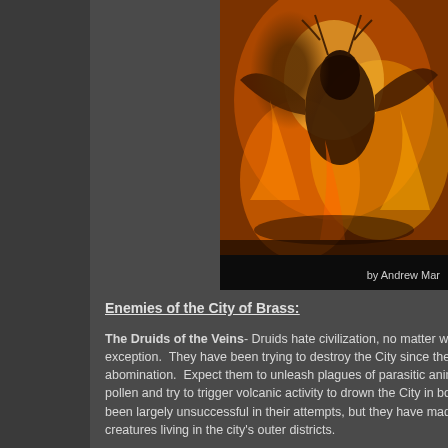[Figure (illustration): Fantasy illustration of a large winged demonic creature surrounded by fire and flames in a forest setting, dark orange and amber tones. Art by Andrew Mar.]
by Andrew Mar
Enemies of the City of Brass:
The Druids of the Veins- Druids hate civilization, no matter wh... exception. They have been trying to destroy the City since they... abomination. Expect them to unleash plagues of parasitic anim... pollen and try to trigger volcanic activity to drown the City in boi... been largely unsuccessful in their attempts, but they have made... creatures living in the city's outer districts.
The Order of the Searing Hand- A secret society of Salamand... Council that rules the City and overtaking it. The Searing Hand...